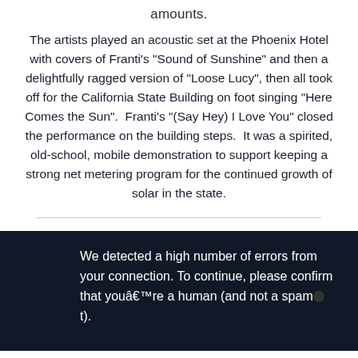amounts.
The artists played an acoustic set at the Phoenix Hotel with covers of Franti's "Sound of Sunshine" and then a delightfully ragged version of "Loose Lucy", then all took off for the California State Building on foot singing "Here Comes the Sun".  Franti's "(Say Hey) I Love You" closed the performance on the building steps.  It was a spirited, old-school, mobile demonstration to support keeping a strong net metering program for the continued growth of solar in the state.
We detected a high number of errors from your connection. To continue, please confirm that youâ€™re a human (and not a spam[bot]).